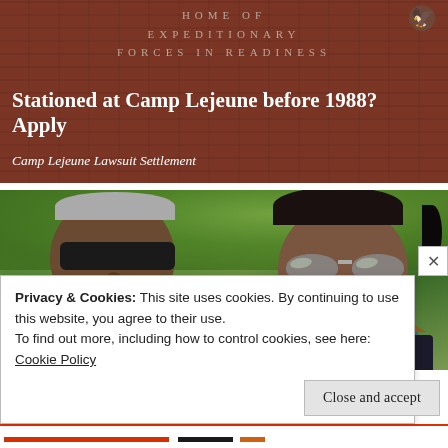[Figure (photo): Advertisement banner with brick wall background showing 'HOME OF EXPEDITIONARY FORCES IN READINESS' text, with headline 'Stationed at Camp Lejeune before 1988? Apply' and subheadline 'Camp Lejeune Lawsuit Settlement'. Eagle emblem visible top right.]
[Figure (photo): Photo of two people (a man with dark sunglasses and a woman with heart-shaped sunglasses) in an outdoor setting with green trees and vegetation in the background.]
Privacy & Cookies: This site uses cookies. By continuing to use this website, you agree to their use.
To find out more, including how to control cookies, see here:
Cookie Policy
Close and accept